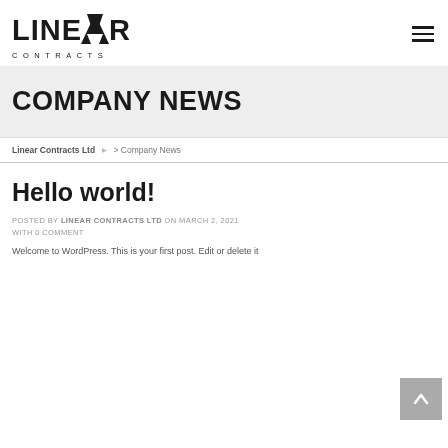LINEAR CONTRACTS
COMPANY NEWS
Linear Contracts Ltd > Company News
Hello world!
POSTED BY LINEAR CONTRACTS LTD ON MARCH 2, 2021 WITH 0 COMMENT
Welcome to WordPress. This is your first post. Edit or delete it